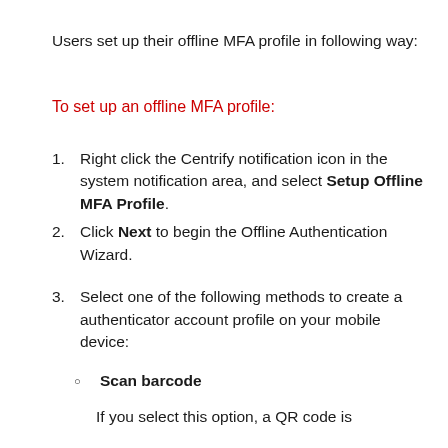Users set up their offline MFA profile in following way:
To set up an offline MFA profile:
Right click the Centrify notification icon in the system notification area, and select Setup Offline MFA Profile.
Click Next to begin the Offline Authentication Wizard.
Select one of the following methods to create a authenticator account profile on your mobile device:
Scan barcode
If you select this option, a QR code is